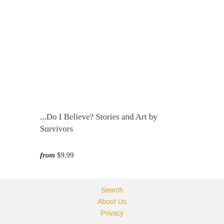...Do I Believe? Stories and Art by Survivors
from $9.99
Search
About Us
Privacy